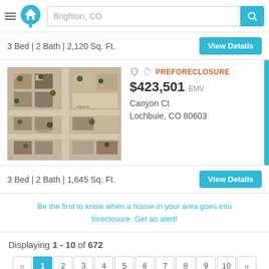[Figure (screenshot): Website header with hamburger menu, house logo, search bar with 'Brighton, CO', and teal search button]
3 Bed | 2 Bath | 2,120 Sq. Ft.
[Figure (photo): Aerial satellite view of residential neighborhood showing Canyon Ct in Lochbuie, CO]
PREFORECLOSURE
$423,501 EMV
Canyon Ct
Lochbuie, CO 80603
3 Bed | 2 Bath | 1,645 Sq. Ft.
Be the first to know when a house in your area goes into foreclosure. Get an alert!
Displaying 1 - 10 of 672
« 1 2 3 4 5 6 7 8 9 10 »